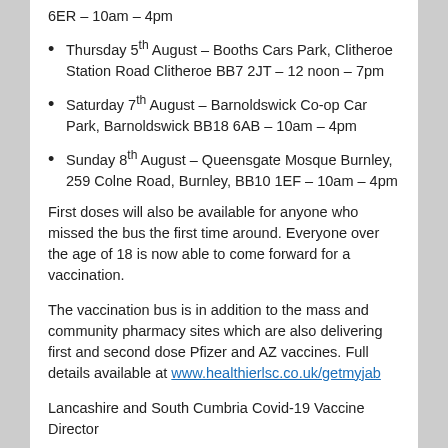6ER – 10am – 4pm
Thursday 5th August – Booths Cars Park, Clitheroe Station Road Clitheroe BB7 2JT – 12 noon – 7pm
Saturday 7th August – Barnoldswick Co-op Car Park, Barnoldswick BB18 6AB – 10am – 4pm
Sunday 8th August – Queensgate Mosque Burnley, 259 Colne Road, Burnley, BB10 1EF – 10am – 4pm
First doses will also be available for anyone who missed the bus the first time around. Everyone over the age of 18 is now able to come forward for a vaccination.
The vaccination bus is in addition to the mass and community pharmacy sites which are also delivering first and second dose Pfizer and AZ vaccines. Full details available at www.healthierlsc.co.uk/getmyjab
Lancashire and South Cumbria Covid-19 Vaccine Director